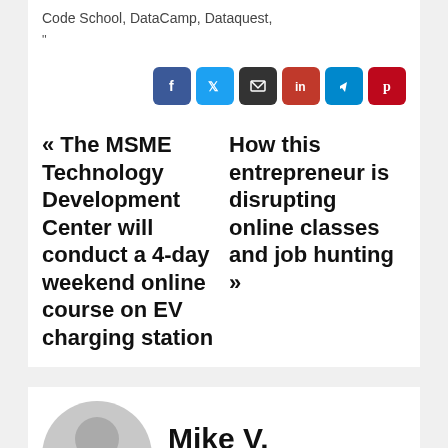Code School, DataCamp, Dataquest,
"
[Figure (other): Social sharing buttons: Facebook, Twitter, Email, LinkedIn, Telegram, Pinterest]
« The MSME Technology Development Center will conduct a 4-day weekend online course on EV charging station
How this entrepreneur is disrupting online classes and job hunting »
[Figure (other): Author avatar placeholder (gray circle)]
Mike V. Cooper